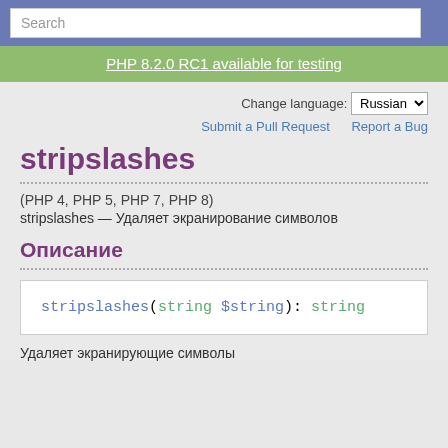Search
PHP 8.2.0 RC1 available for testing
Change language: Russian
Submit a Pull Request   Report a Bug
stripslashes
(PHP 4, PHP 5, PHP 7, PHP 8)
stripslashes — Удаляет экранирование символов
Описание
stripslashes(string $string): string
Удаляет экранирующие символы